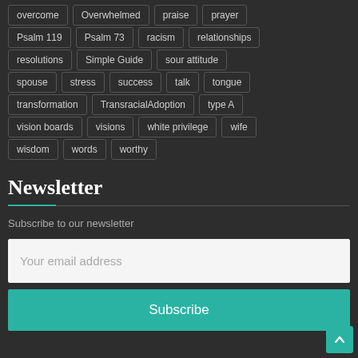overcome
Overwhelmed
praise
prayer
Psalm 119
Psalm 73
racism
relationships
resolutions
Simple Guide
sour attitude
spouse
stress
success
talk
tongue
transformation
TransracialAdoption
type A
vision boards
visions
white privilege
wife
wisdom
words
worthy
Newsletter
Subscribe to our newsletter
Your email address
Subscribe